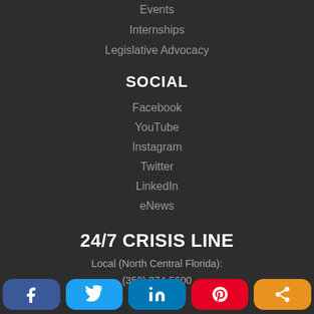Events
Internships
Legislative Advocacy
SOCIAL
Facebook
YouTube
Instagram
Twitter
LinkedIn
eNews
24/7 CRISIS LINE
Local (North Central Florida):
(352) 374-5600
[Figure (infographic): Social media sharing bar with icons for Facebook, Twitter, LinkedIn, Pinterest, and a share button]